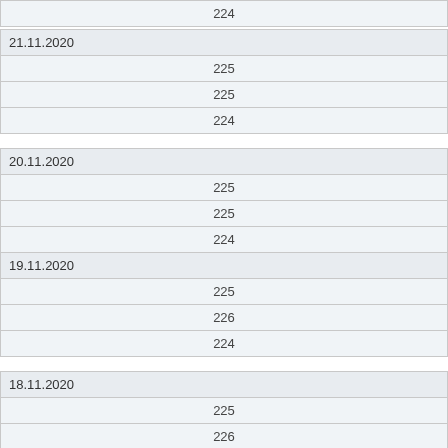| 224 |
| 21.11.2020 |
| 225 |
| 225 |
| 224 |
| 20.11.2020 |
| 225 |
| 225 |
| 224 |
| 19.11.2020 |
| 225 |
| 226 |
| 224 |
| 18.11.2020 |
| 225 |
| 226 |
| 224 |
| 17.11.2020 |